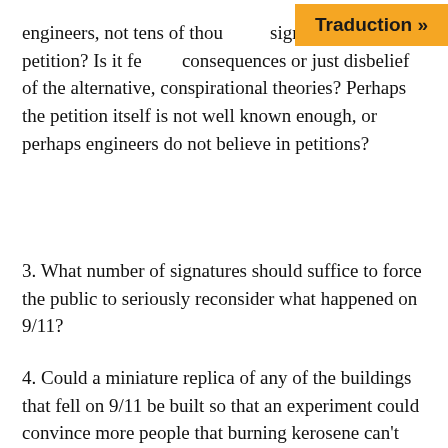engineers, not tens of thousands, signed this petition? Is it fear of consequences or just disbelief of the alternative, conspirational theories? Perhaps the petition itself is not well known enough, or perhaps engineers do not believe in petitions?
3. What number of signatures should suffice to force the public to seriously reconsider what happened on 9/11?
4. Could a miniature replica of any of the buildings that fell on 9/11 be built so that an experiment could convince more people that burning kerosene can’t take down a steel frame, or that a construction hit by a mobile does not disintegrate as it crumbles as the